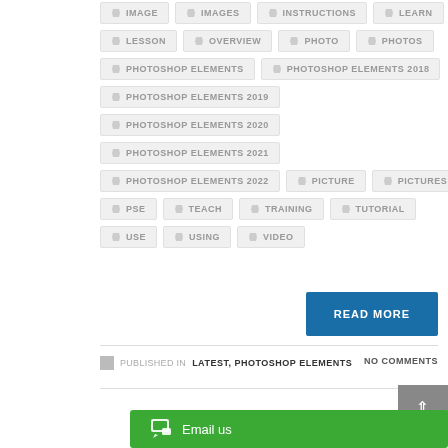IMAGE
IMAGES
INSTRUCTIONS
LEARN
LESSON
OVERVIEW
PHOTO
PHOTOS
PHOTOSHOP ELEMENTS
PHOTOSHOP ELEMENTS 2018
PHOTOSHOP ELEMENTS 2019
PHOTOSHOP ELEMENTS 2020
PHOTOSHOP ELEMENTS 2021
PHOTOSHOP ELEMENTS 2022
PICTURE
PICTURES
PSE
TEACH
TRAINING
TUTORIAL
USE
USING
VIDEO
READ MORE
PUBLISHED IN LATEST, PHOTOSHOP ELEMENTS   NO COMMENTS
Email us